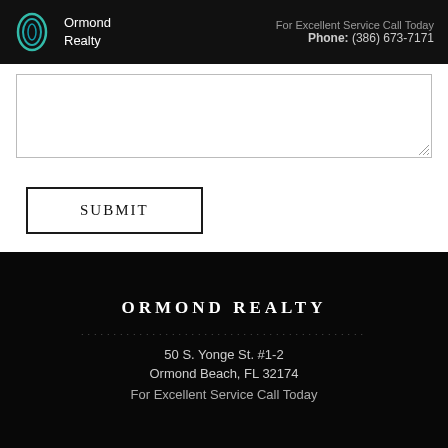Ormond Realty — For Excellent Service Call Today Phone: (386) 673-7171
[Figure (screenshot): Text area form field with resize handle in bottom-right corner]
SUBMIT
ORMOND REALTY
50 S. Yonge St. #1-2
Ormond Beach, FL 32174
For Excellent Service Call Today